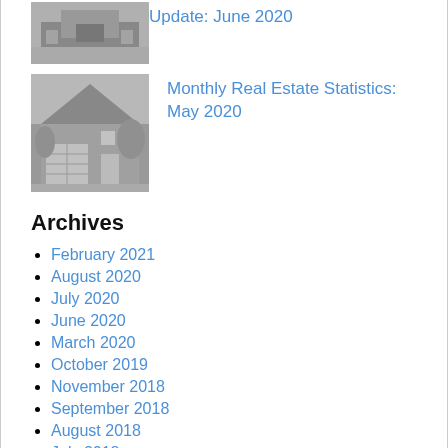[Figure (photo): Black and white photo of a house, partially visible at top]
Update: June 2020
[Figure (photo): Black and white photo of a residential house with garage]
Monthly Real Estate Statistics: May 2020
Archives
February 2021
August 2020
July 2020
June 2020
March 2020
October 2019
November 2018
September 2018
August 2018
July 2018
June 2018
May 2018